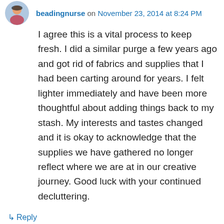beadingnurse on November 23, 2014 at 8:24 PM
I agree this is a vital process to keep fresh. I did a similar purge a few years ago and got rid of fabrics and supplies that I had been carting around for years. I felt lighter immediately and have been more thoughtful about adding things back to my stash. My interests and tastes changed and it is okay to acknowledge that the supplies we have gathered no longer reflect where we are at in our creative journey. Good luck with your continued decluttering.
↳ Reply
mlb116 on November 23, 2014 at 9:28 PM
Amen, brother. I am your older clone. You know